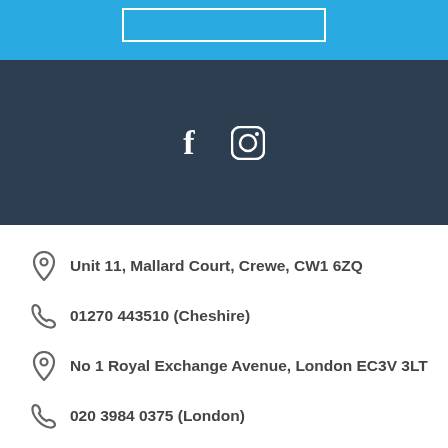[Figure (other): Blue header bar with white rectangular button outline]
[Figure (other): Dark navy bar with Facebook and Instagram social media icons in white]
Unit 11, Mallard Court, Crewe, CW1 6ZQ
01270 443510 (Cheshire)
No 1 Royal Exchange Avenue, London EC3V 3LT
020 3984 0375 (London)
enquiries@amplemortgages.co.uk